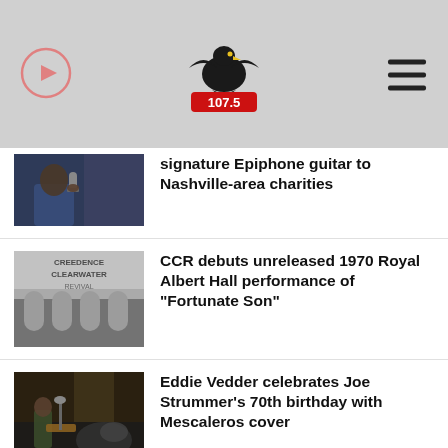Eagle 107.5
signature Epiphone guitar to Nashville-area charities
CCR debuts unreleased 1970 Royal Albert Hall performance of "Fortunate Son"
Eddie Vedder celebrates Joe Strummer's 70th birthday with Mescaleros cover
Elton John's duet with Britney Spears, "Hold Me Closer," arrives August 26